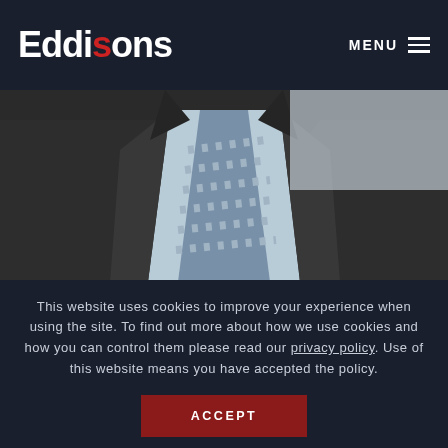Eddisons | MENU
[Figure (photo): Partial photo of a man in a dark suit with a striped tie, chest and shoulders visible against a light background]
JOHN PADGETT
Director
Bradford
This website uses cookies to improve your experience when using the site. To find out more about how we use cookies and how you can control them please read our privacy policy. Use of this website means you have accepted the policy.
ACCEPT